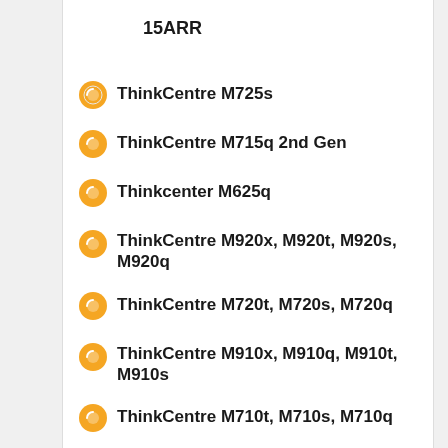15ARR
ThinkCentre M725s
ThinkCentre M715q 2nd Gen
Thinkcenter M625q
ThinkCentre M920x, M920t, M920s, M920q
ThinkCentre M720t, M720s, M720q
ThinkCentre M910x, M910q, M910t, M910s
ThinkCentre M710t, M710s, M710q